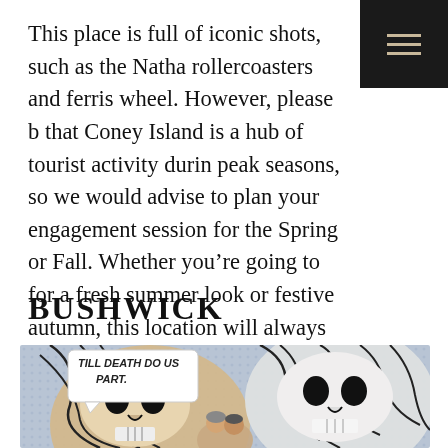This place is full of iconic shots, such as the Natha… rollercoasters and ferris wheel. However, please b… that Coney Island is a hub of tourist activity durin… peak seasons, so we would advise to plan your engagement session for the Spring or Fall. Whether you're going to for a fresh summer look or festive autumn, this location will always have a wide variety of adventure for you!
BUSHWICK
[Figure (photo): Photo of a couple in front of a comic-book style mural featuring skulls with the text 'TILL DEATH DO US PART.' painted in pop-art style in Bushwick, NYC.]